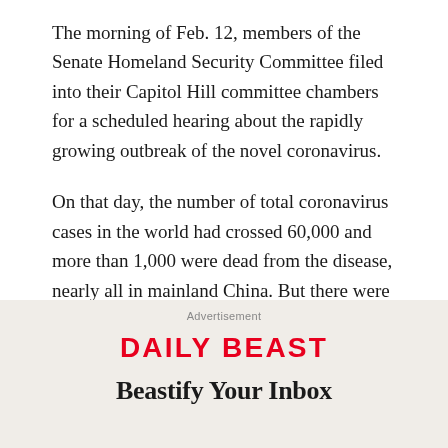The morning of Feb. 12, members of the Senate Homeland Security Committee filed into their Capitol Hill committee chambers for a scheduled hearing about the rapidly growing outbreak of the novel coronavirus.
On that day, the number of total coronavirus cases in the world had crossed 60,000 and more than 1,000 were dead from the disease, nearly all in mainland China. But there were 14 cases in the United States, and top officials from the Centers for Disease Control were warning the coronavirus could “gain a foothold.”
Advertisement
[Figure (logo): Daily Beast logo in red uppercase bold text]
Beastify Your Inbox